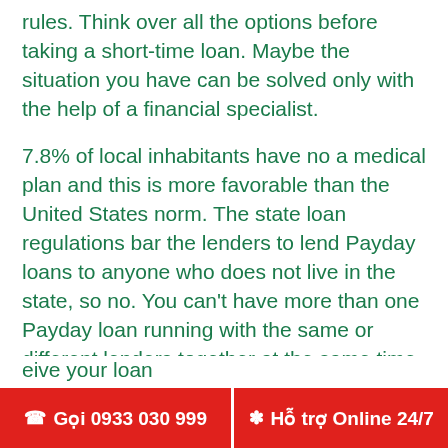rules. Think over all the options before taking a short-time loan. Maybe the situation you have can be solved only with the help of a financial specialist.
7.8% of local inhabitants have no a medical plan and this is more favorable than the United States norm. The state loan regulations bar the lenders to lend Payday loans to anyone who does not live in the state, so no. You can't have more than one Payday loan running with the same or different lenders together at the same time. There are two charges in particular, that are laid on borrowers. First is a small amount of 5 dollars for verification and other the Payday Loan charge which is 10% of the loan amount. But the exact date for when yours is due will be on the agreement. As you may have noticed from the first point of this article. In order to get approved your score is not a
eive your loan
review your ap
Gọi 0933 030 999   Hỗ trợ Online 24/7